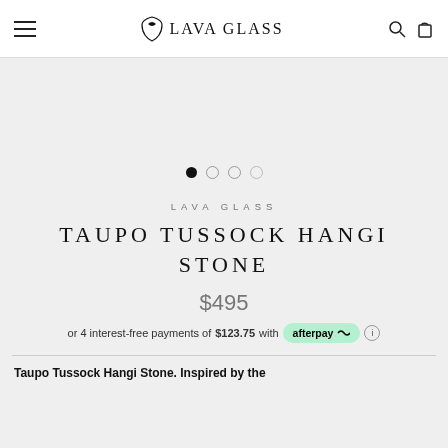LAVA GLASS
[Figure (other): Image carousel dots indicator: 4 dots, first filled/active, rest empty circles]
LAVA GLASS
TAUPO TUSSOCK HANGI STONE
$495
or 4 interest-free payments of $123.75 with afterpay
Taupo Tussock Hangi Stone. Inspired by the